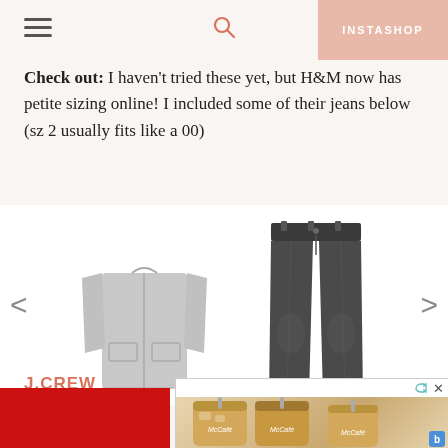INSTASHOP
Check out: I haven't tried these yet, but H&M now has petite sizing online! I included some of their jeans below (sz 2 usually fits like a 00)
[Figure (photo): Carousel showing a light grey long coat (H&M) on the left and dark grey/black skinny jeans (H&M) on the right, with left and right navigation arrows]
J.CREW
The dea... off +
[Figure (photo): McDonald's McCafé advertisement showing iced coffee drinks]